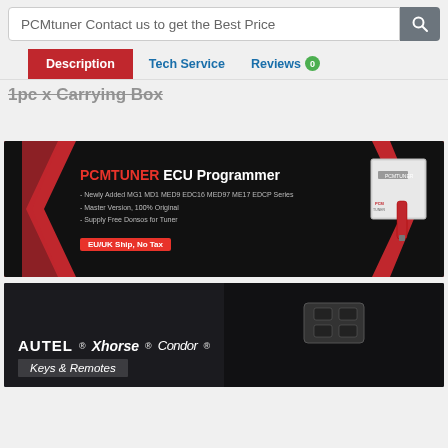PCMtuner Contact us to get the Best Price
Description | Tech Service | Reviews 0
1pc x Carrying Box
[Figure (photo): PCMTuner ECU Programmer product banner on dark background with red triangular accents. Text: PCMTUNER ECU Programmer. Bullet points: Newly Added MG1 MD1 MED9 EDC16 MED97 ME17 EDCP Series, Master Version, 100% Original, Supply Free Donsos for Tuner. Tag: EU/UK Ship, No Tax. Image of device and USB dongle on right.]
[Figure (photo): Autel, Xhorse, Condor Keys & Remotes banner. Dark background showing mechanic and car interior. Logos for Autel, Xhorse, Condor brands. Subtitle: Keys & Remotes.]